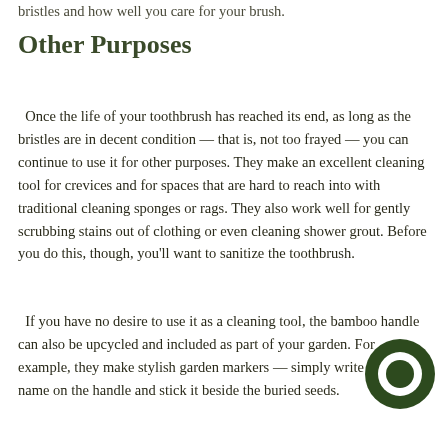bristles and how well you care for your brush.
Other Purposes
Once the life of your toothbrush has reached its end, as long as the bristles are in decent condition — that is, not too frayed — you can continue to use it for other purposes. They make an excellent cleaning tool for crevices and for spaces that are hard to reach into with traditional cleaning sponges or rags. They also work well for gently scrubbing stains out of clothing or even cleaning shower grout. Before you do this, though, you'll want to sanitize the toothbrush.
If you have no desire to use it as a cleaning tool, the bamboo handle can also be upcycled and included as part of your garden. For example, they make stylish garden markers — simply write the plant name on the handle and stick it beside the buried seeds.
[Figure (logo): Dark green circular logo/icon with a ring shape, positioned at bottom right of page]